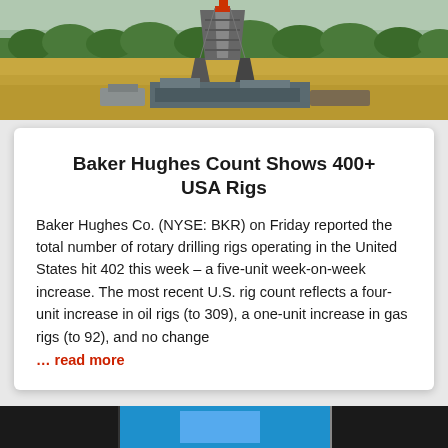[Figure (photo): Aerial/ground-level photo of an oil drilling rig in a field with dry grass and trees in the background under a partly cloudy sky.]
Baker Hughes Count Shows 400+ USA Rigs
Baker Hughes Co. (NYSE: BKR) on Friday reported the total number of rotary drilling rigs operating in the United States hit 402 this week – a five-unit week-on-week increase. The most recent U.S. rig count reflects a four-unit increase in oil rigs (to 309), a one-unit increase in gas rigs (to 92), and no change
… read more
[Figure (photo): Bottom strip of another article image, partially visible.]